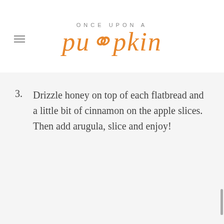ONCE UPON A pumpkin
3. Drizzle honey on top of each flatbread and a little bit of cinnamon on the apple slices. Then add arugula, slice and enjoy!